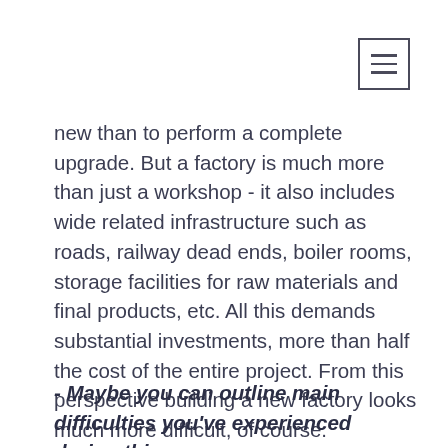[Figure (other): Hamburger menu icon — three horizontal lines inside a square border, top-right corner]
new than to perform a complete upgrade. But a factory is much more than just a workshop - it also includes wide related infrastructure such as roads, railway dead ends, boiler rooms, storage facilities for raw materials and final products, etc. All this demands substantial investments, more than half the cost of the entire project. From this perspective building a new factory looks much more difficult, of course.
- Maybe you can outline main difficulties you've experienced during this